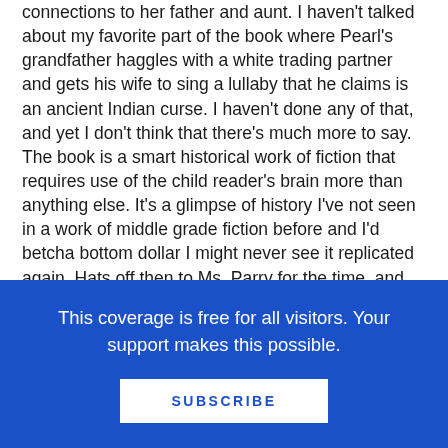connections to her father and aunt. I haven't talked about my favorite part of the book where Pearl's grandfather haggles with a white trading partner and gets his wife to sing a lullaby that he claims is an ancient Indian curse. I haven't done any of that, and yet I don't think that there's much more to say. The book is a smart historical work of fiction that requires use of the child reader's brain more than anything else. It's a glimpse of history I've not seen in a work of middle grade fiction before and I'd betcha bottom dollar I might never see it replicated again. Hats off then to Ms. Parry for the time, and effort, and consideration, and care she poured into this work. Hats off too to her editor for allowing her to do so. The thought that someone experienced this as a revi
This coverage is free for all visitors. Your support makes this possible.
SUBSCRIBE